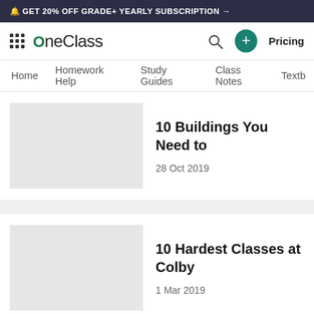🔔 GET 20% OFF GRADE+ YEARLY SUBSCRIPTION →
[Figure (logo): OneClass logo with grid icon, search icon, plus button, and Pricing link]
Home | Homework Help | Study Guides | Class Notes | Textb…
10 Buildings You Need to
28 Oct 2019
10 Hardest Classes at Colby
1 Mar 2019
Log in or Sign up
10 Coolest Courses at